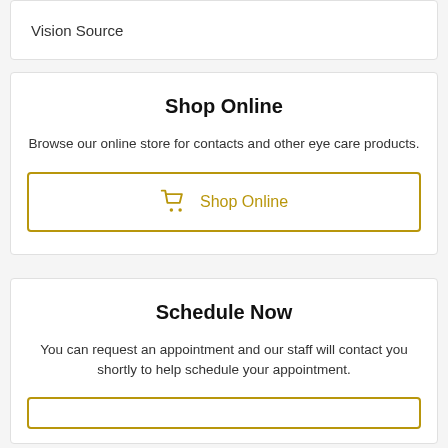Vision Source
Shop Online
Browse our online store for contacts and other eye care products.
Shop Online
Schedule Now
You can request an appointment and our staff will contact you shortly to help schedule your appointment.